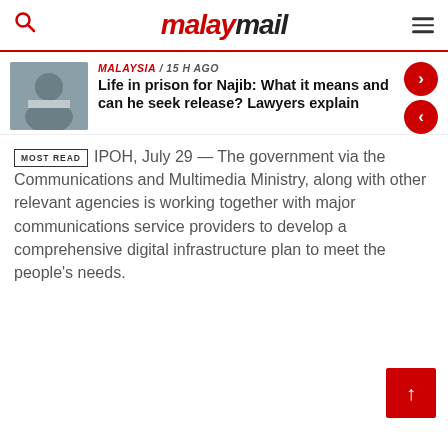malaymail
[Figure (photo): Thumbnail photo of a man wearing a mask, associated with Najib article]
MALAYSIA / 15 h ago
Life in prison for Najib: What it means and can he seek release? Lawyers explain
MOST READ
IPOH, July 29 — The government via the Communications and Multimedia Ministry, along with other relevant agencies is working together with major communications service providers to develop a comprehensive digital infrastructure plan to meet the people's needs.